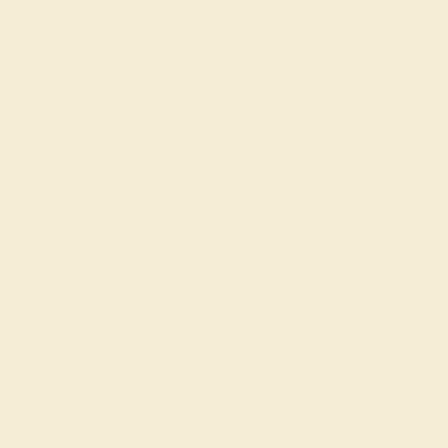analysis and 120 questionnaires were randomly administered. The physico-chemical values were within the Ghana Standard Board and World Health Organization maximum limits for potability except turbidity and nitrate concentrations. Nitrate concentrations ranged from 1.19 to 46.97 mg/l with a general mean value of 14.11 mg/l. Generally, there was a significant difference (P < 0.05) in some physico-chemical parameters values and E. coli count for the three water sources. The microbial count exceeded GSB and WHO limits for potability except Escherichia coli making the water unwholesome for drinking purpose. The community◆s perception of water quality did not